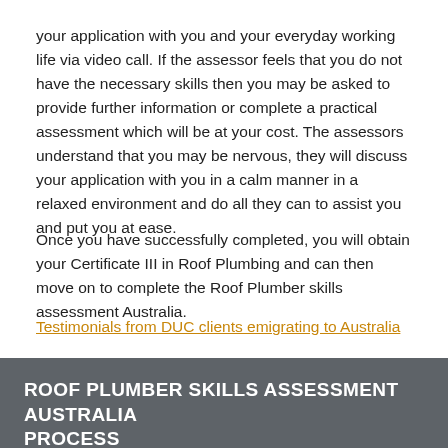your application with you and your everyday working life via video call. If the assessor feels that you do not have the necessary skills then you may be asked to provide further information or complete a practical assessment which will be at your cost. The assessors understand that you may be nervous, they will discuss your application with you in a calm manner in a relaxed environment and do all they can to assist you and put you at ease.
Once you have successfully completed, you will obtain your Certificate III in Roof Plumbing and can then move on to complete the Roof Plumber skills assessment Australia.
Testimonials from DUC clients emigrating to Australia
ROOF PLUMBER SKILLS ASSESSMENT AUSTRALIA PROCESS
The Down Under Centre can also work with you to submit your Roof Plumber skills assessment application to Trades Recognition Australia (TRA) after you obtain your Certificate III in Roof Plumbing, where we collect any outstanding documentation and